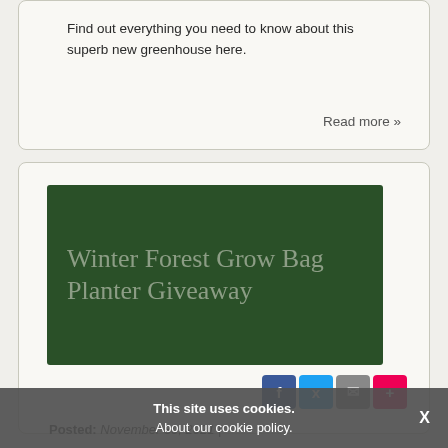Find out everything you need to know about this superb new greenhouse here.
Read more »
[Figure (illustration): Dark green rectangular image with faded text overlay reading 'Winter Forest Grow Bag Planter Giveaway']
[Figure (other): Social sharing buttons: Facebook (blue), Twitter (blue), Email (grey), Plus (red)]
Posted: November 30, 2021 | Categories: News, Interviews and Competitions | Author: Aimee Laux
This site uses cookies. About our cookie policy. X